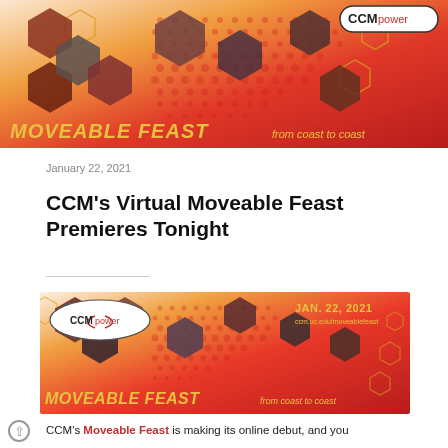[Figure (photo): CCM Moveable Feast banner image showing honeycomb hexagon pattern with photos of performers and a US map silhouette, with 'MOVEABLE FEAST from coast to coast' text and CCMpower logo]
January 22, 2021
CCM's Virtual Moveable Feast Premieres Tonight
[Figure (photo): Second CCM Moveable Feast banner with date JAN. 22, 2021 and ccm.uc.edu/moveablefeast URL, honeycomb hexagon pattern with performer photos, CCMpower logo, and 'MOVEABLE FEAST from coast to coast' text]
CCM's Moveable Feast is making its online debut, and you